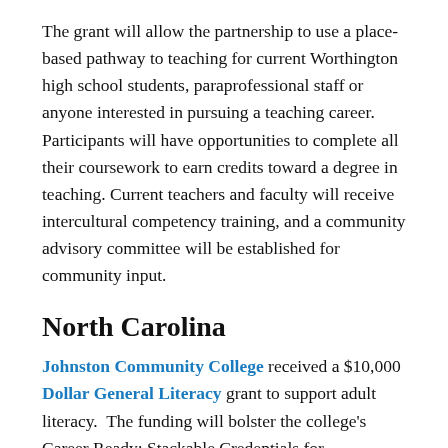The grant will allow the partnership to use a place-based pathway to teaching for current Worthington high school students, paraprofessional staff or anyone interested in pursuing a teaching career. Participants will have opportunities to complete all their coursework to earn credits toward a degree in teaching. Current teachers and faculty will receive intercultural competency training, and a community advisory committee will be established for community input.
North Carolina
Johnston Community College received a $10,000 Dollar General Literacy grant to support adult literacy.  The funding will bolster the college's Career Ready: Stackable Credentials for Employment project, which aims to serve 55